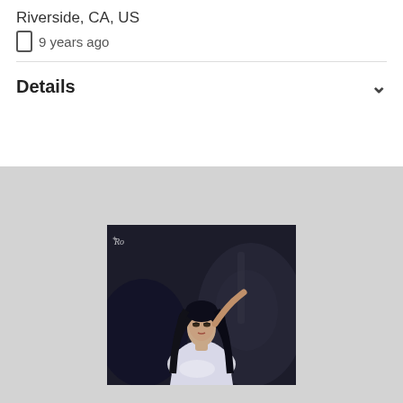Riverside, CA, US
9 years ago
Details
[Figure (photo): Profile photo of a young woman with long dark hair wearing a white top, posed in a dark dramatic setting with a watermark logo in the top left corner]